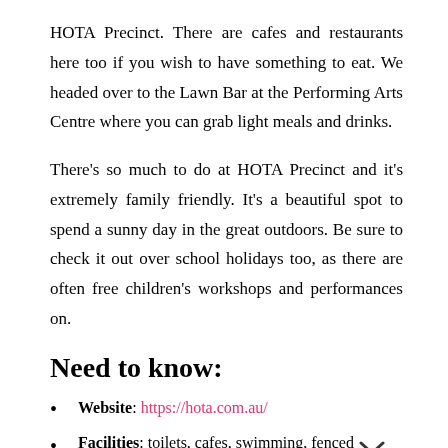HOTA Precinct. There are cafes and restaurants here too if you wish to have something to eat. We headed over to the Lawn Bar at the Performing Arts Centre where you can grab light meals and drinks.
There's so much to do at HOTA Precinct and it's extremely family friendly. It's a beautiful spot to spend a sunny day in the great outdoors. Be sure to check it out over school holidays too, as there are often free children's workshops and performances on.
Need to know:
Website: https://hota.com.au/
Facilities: toilets, cafes, swimming, fenced playground, picnic area, Art Gallery, Performing Arts Centre
Address: 135 Bundall Road, Surfers Paradise